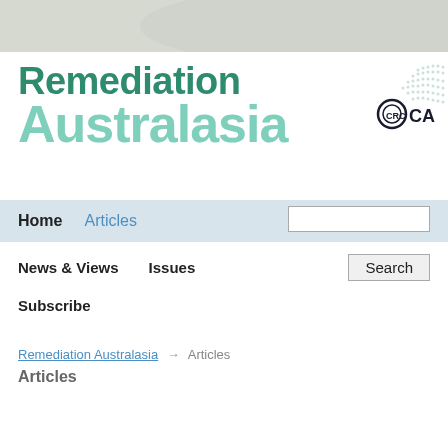[Figure (logo): Top decorative gray banner strip]
Remediation Australasia
[Figure (logo): CRC CARE logo — circular dotted pattern with CRC CA text]
Home  Articles  [search box]
News & Views
Issues
Subscribe
Remediation Australasia → Articles
Articles